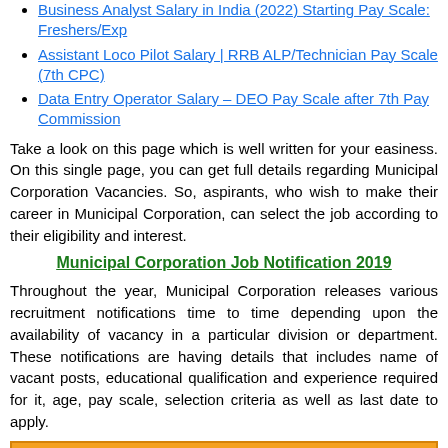Business Analyst Salary in India (2022) Starting Pay Scale: Freshers/Exp
Assistant Loco Pilot Salary | RRB ALP/Technician Pay Scale (7th CPC)
Data Entry Operator Salary – DEO Pay Scale after 7th Pay Commission
Take a look on this page which is well written for your easiness. On this single page, you can get full details regarding Municipal Corporation Vacancies. So, aspirants, who wish to make their career in Municipal Corporation, can select the job according to their eligibility and interest.
Municipal Corporation Job Notification 2019
Throughout the year, Municipal Corporation releases various recruitment notifications time to time depending upon the availability of vacancy in a particular division or department. These notifications are having details that includes name of vacant posts, educational qualification and experience required for it, age, pay scale, selection criteria as well as last date to apply.
To Check Weekly Recruitment Updates, Hit: